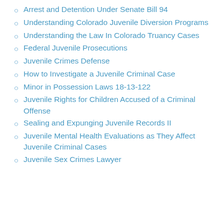Arrest and Detention Under Senate Bill 94
Understanding Colorado Juvenile Diversion Programs
Understanding the Law In Colorado Truancy Cases
Federal Juvenile Prosecutions
Juvenile Crimes Defense
How to Investigate a Juvenile Criminal Case
Minor in Possession Laws 18-13-122
Juvenile Rights for Children Accused of a Criminal Offense
Sealing and Expunging Juvenile Records II
Juvenile Mental Health Evaluations as They Affect Juvenile Criminal Cases
Juvenile Sex Crimes Lawyer